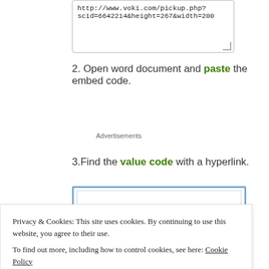[Figure (screenshot): Textarea box containing URL: http://www.voki.com/pickup.php?scid=6642214&height=267&width=200]
2. Open word document and paste the embed code.
Advertisements
3.Find the value code with a hyperlink.
[Figure (screenshot): Blue-bordered embed code box with inner white area]
d.oddcast.com/vhss_editors/voki_player.swf?doc=http://vhss- (highlighted in yellow)
Privacy & Cookies: This site uses cookies. By continuing to use this website, you agree to their use.
To find out more, including how to control cookies, see here: Cookie Policy